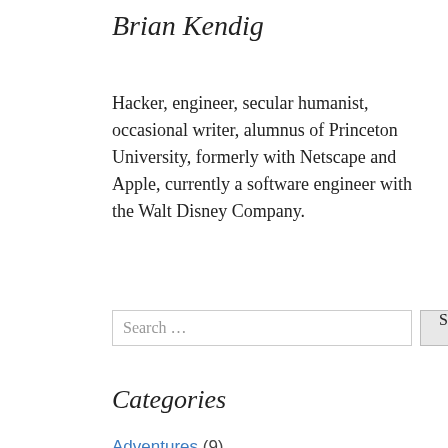Brian Kendig
Hacker, engineer, secular humanist, occasional writer, alumnus of Princeton University, formerly with Netscape and Apple, currently a software engineer with the Walt Disney Company.
Search …
Categories
Adventures (9)
Cars (4)
Disney (16)
Family (3)